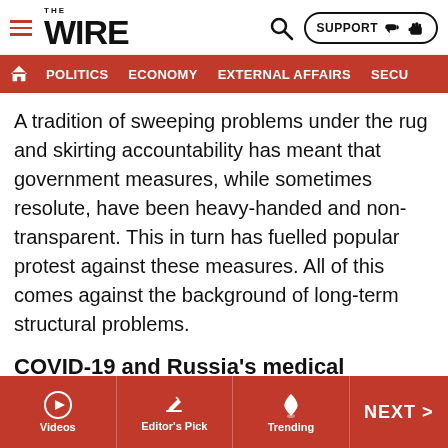THE WIRE — navigation bar with home, Politics, Economy, External Affairs, Secu...
A tradition of sweeping problems under the rug and skirting accountability has meant that government measures, while sometimes resolute, have been heavy-handed and non-transparent. This in turn has fuelled popular protest against these measures. All of this comes against the background of long-term structural problems.
COVID-19 and Russia's medical infrastructure
In the medical system, much investment in recent years has been channelled into flagship high-tech facilities in the big cities. Conversely, many hospitals in peripheral areas have been closed. Cramped conditions, poor hygiene, and
Videos | Editor's Pick | Trending | NEXT >